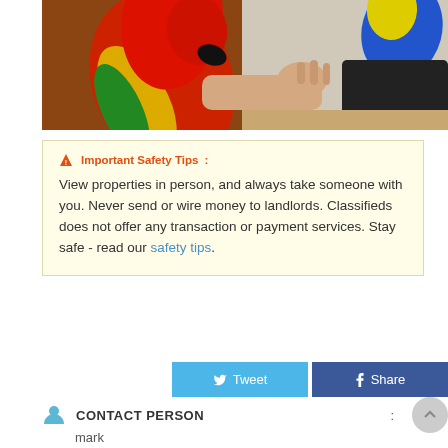[Figure (photo): A scarlet macaw parrot with red, yellow, and green feathers perched on a person's arm. Another blue and yellow macaw is visible in the background. A person's hand is reaching toward the parrot.]
⚠ Important Safety Tips :
View properties in person, and always take someone with you. Never send or wire money to landlords. Classifieds does not offer any transaction or payment services. Stay safe - read our safety tips.
Tweet
Share
CONTACT PERSON :
mark